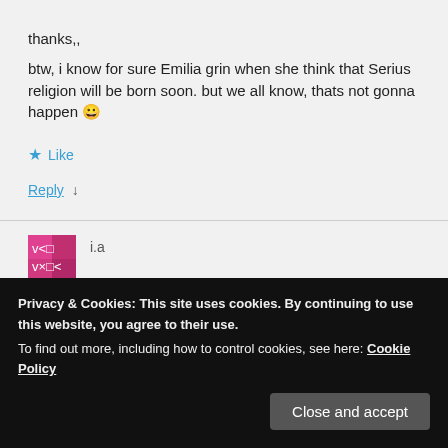thanks,,
btw, i know for sure Emilia grin when she think that Serius religion will be born soon. but we all know, thats not gonna happen 😀
★ Like
Reply ↓
i.a
Privacy & Cookies: This site uses cookies. By continuing to use this website, you agree to their use.
To find out more, including how to control cookies, see here: Cookie Policy
Close and accept